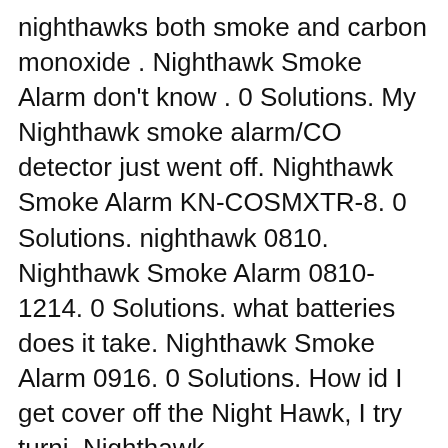nighthawks both smoke and carbon monoxide . Nighthawk Smoke Alarm don't know . 0 Solutions. My Nighthawk smoke alarm/CO detector just went off. Nighthawk Smoke Alarm KN-COSMXTR-8. 0 Solutions. nighthawk 0810. Nighthawk Smoke Alarm 0810-1214. 0 Solutions. what batteries does it take. Nighthawk Smoke Alarm 0916. 0 Solutions. How id I get cover off the Night Hawk, I try turni. Nighthawk
Nighthawk Alarm Manual companyprideplatform.org. Find helpful customer reviews and review ratings for nighthawk ac plug-in operated carbon monoxide alarm manual. all home co alarms nighthawk co detector. carbon